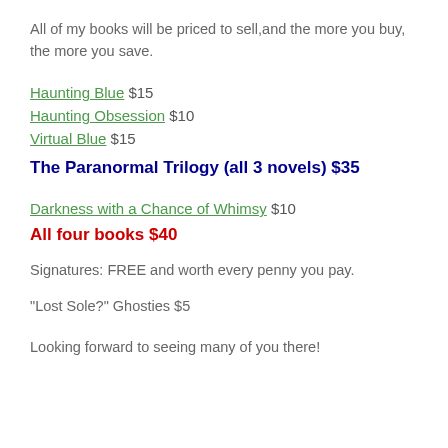All of my books will be priced to sell, and the more you buy, the more you save.
Haunting Blue $15
Haunting Obsession $10
Virtual Blue $15
The Paranormal Trilogy (all 3 novels) $35
Darkness with a Chance of Whimsy $10
All four books $40
Signatures: FREE and worth every penny you pay.
“Lost Sole?” Ghosties $5
Looking forward to seeing many of you there!